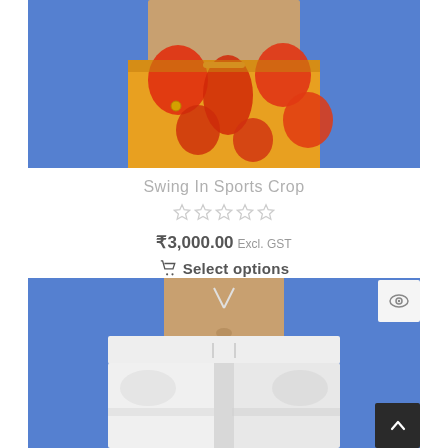[Figure (photo): Close-up of model wearing floral print red/orange shorts on blue background, showing torso and hands]
Swing In Sports Crop
[Figure (other): 5-star rating display showing empty/outline stars in gray]
₹3,000.00 Excl. GST
Select options
[Figure (photo): Model wearing white jogger pants with drawstring on blue background, showing cropped torso and waistband]
[Figure (other): Eye/quick view icon button]
[Figure (other): Back to top arrow button, dark background]